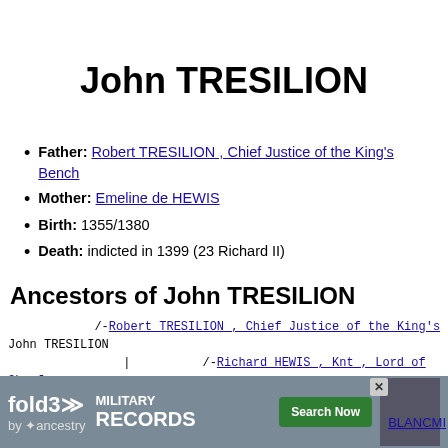John TRESILION
Father: Robert TRESILION , Chief Justice of the King's Bench
Mother: Emeline de HEWIS
Birth: 1355/1380
Death: indicted in 1399 (23 Richard II)
Ancestors of John TRESILION
/-Robert TRESILION , Chief Justice of the King's
John TRESILION
        | /-Richard HEWIS , Knt , Lord of Chagfo